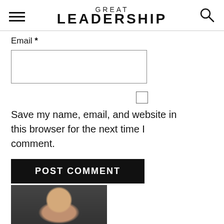GREAT LEADERSHIP
Email *
Save my name, email, and website in this browser for the next time I comment.
POST COMMENT
[Figure (photo): Partial photo of a person's head and shoulders against a dark background, visible at the bottom of the page.]